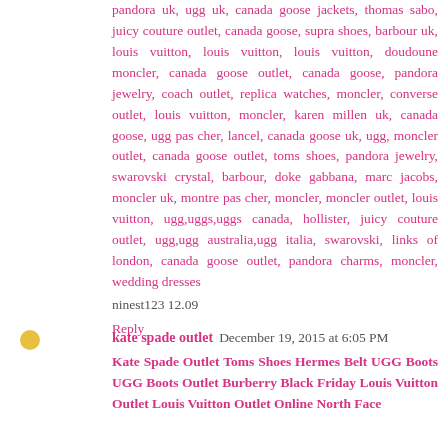pandora uk, ugg uk, canada goose jackets, thomas sabo, juicy couture outlet, canada goose, supra shoes, barbour uk, louis vuitton, louis vuitton, louis vuitton, doudoune moncler, canada goose outlet, canada goose, pandora jewelry, coach outlet, replica watches, moncler, converse outlet, louis vuitton, moncler, karen millen uk, canada goose, ugg pas cher, lancel, canada goose uk, ugg, moncler outlet, canada goose outlet, toms shoes, pandora jewelry, swarovski crystal, barbour, doke gabbana, marc jacobs, moncler uk, montre pas cher, moncler, moncler outlet, louis vuitton, ugg,uggs,uggs canada, hollister, juicy couture outlet, ugg,ugg australia,ugg italia, swarovski, links of london, canada goose outlet, pandora charms, moncler, wedding dresses
ninest123 12.09
Reply
kate spade outlet December 19, 2015 at 6:05 PM
Kate Spade Outlet Toms Shoes Hermes Belt UGG Boots UGG Boots Outlet Burberry Black Friday Louis Vuitton Outlet Louis Vuitton Outlet Online North Face